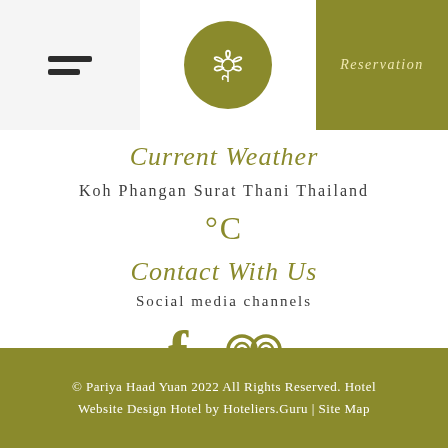[Figure (logo): Circular logo with a flower/leaf design on olive/green background, white line art]
Reservation
Current Weather
Koh Phangan Surat Thani Thailand
°C
Contact With Us
Social media channels
[Figure (infographic): Facebook icon (f) and TripAdvisor owl icon in olive/dark yellow color]
© Pariya Haad Yuan 2022 All Rights Reserved. Hotel Website Design Hotel by Hoteliers.Guru | Site Map